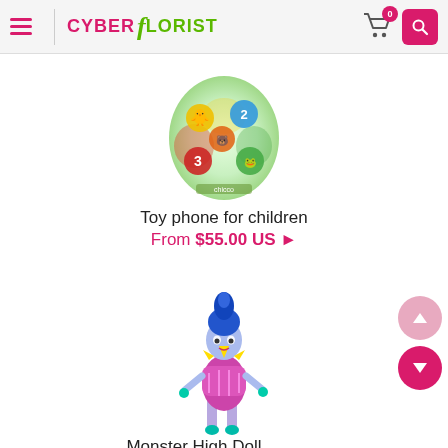Cyber Florist — navigation header with hamburger menu, logo, cart (0), and search button
[Figure (photo): Toy phone for children — colorful egg-shaped toy with animal number buttons glowing]
Toy phone for children
From $55.00 US ▶
[Figure (photo): Monster High doll with blue hair, yellow collar, purple dress and teal boots]
Monster High Doll